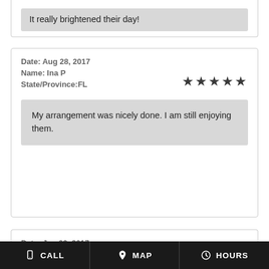It really brightened their day!
Date: Aug 28, 2017
Name: Ina P
State/Province:FL
★★★★★
My arrangement was nicely done. I am still enjoying them.
Date: Jun 03, 2017
Name: Jodi S
State/Province:FL
★★★
CALL  MAP  HOURS